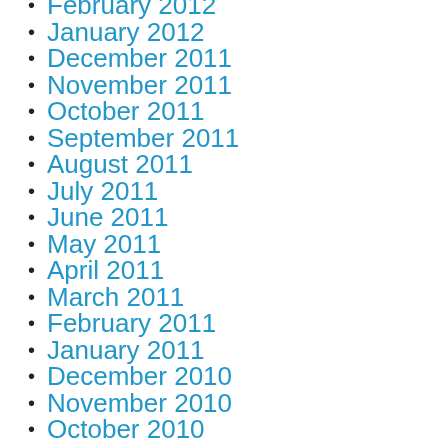February 2012
January 2012
December 2011
November 2011
October 2011
September 2011
August 2011
July 2011
June 2011
May 2011
April 2011
March 2011
February 2011
January 2011
December 2010
November 2010
October 2010